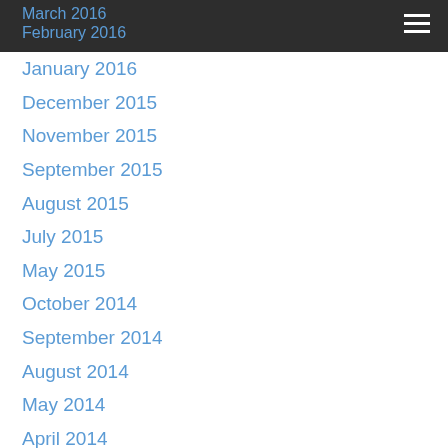March 2016
February 2016
January 2016
December 2015
November 2015
September 2015
August 2015
July 2015
May 2015
October 2014
September 2014
August 2014
May 2014
April 2014
March 2014
January 2014
August 2013
April 2013
March 2013